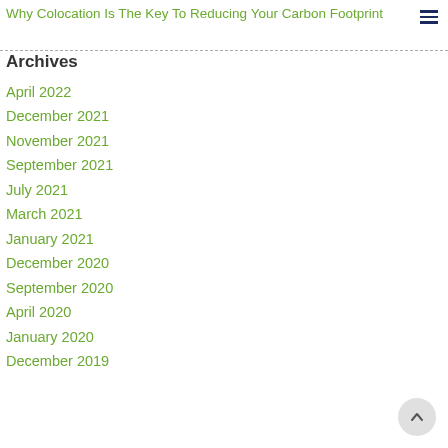Why Colocation Is The Key To Reducing Your Carbon Footprint
Archives
April 2022
December 2021
November 2021
September 2021
July 2021
March 2021
January 2021
December 2020
September 2020
April 2020
January 2020
December 2019